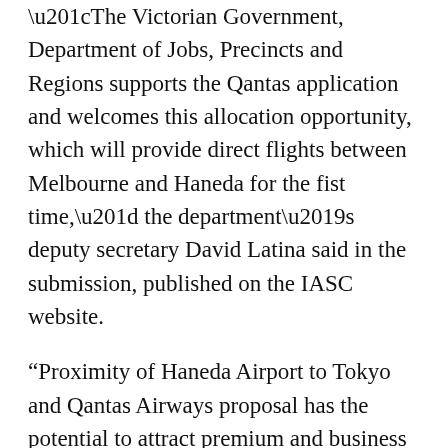“The Victorian Government, Department of Jobs, Precincts and Regions supports the Qantas application and welcomes this allocation opportunity, which will provide direct flights between Melbourne and Haneda for the fist time,” the department’s deputy secretary David Latina said in the submission, published on the IASC website.
“Proximity of Haneda Airport to Tokyo and Qantas Airways proposal has the potential to attract premium and business travellers who prefer convenience to serve their travel needs and contribute to their professional success.”
Qantas has told the IASC granting the two available slot to the airline would “deliver the greatest benefit